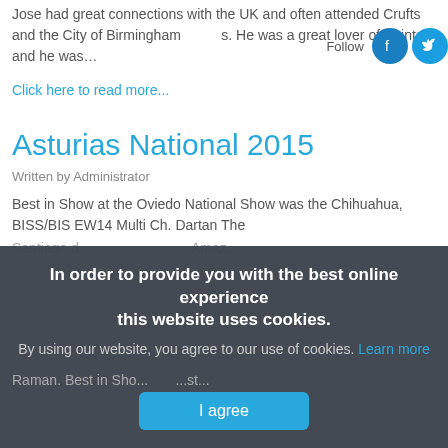Jose had great connections with the UK and often attended Crufts and the City of Birmingham Shows. He was a great lover of Pointers and he was…
[Figure (logo): Follow label with Facebook and Twitter circular icons in blue]
Click here to read more...
Asturias National 2015
Written by Administrator
Best in Show at the Oviedo National Show was the Chihuahua, BISS/BIS EW 14 Multi Ch. Dartan The
Santiago d... Amaz... Reman. Best in Sho... st...
In order to provide you with the best online experience this website uses cookies.
By using our website, you agree to our use of cookies. Learn more
I agree